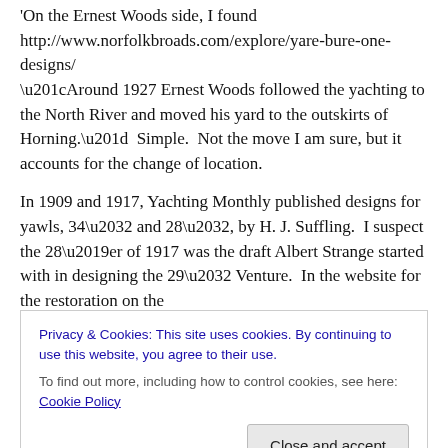'On the Ernest Woods side, I found http://www.norfolkbroads.com/explore/yare-bure-one-designs/ "Around 1927 Ernest Woods followed the yachting to the North River and moved his yard to the outskirts of Horning."  Simple.  Not the move I am sure, but it accounts for the change of location.

In 1909 and 1917, Yachting Monthly published designs for yawls, 34′ and 28′, by H. J. Suffling.  I suspect the 28'er of 1917 was the draft Albert Strange started with in designing the 29′ Venture.  In the website for the restoration on the
Privacy & Cookies: This site uses cookies. By continuing to use this website, you agree to their use.
To find out more, including how to control cookies, see here: Cookie Policy
Close and accept
part of the Royal Norfolk & Suffolk Yacht Club and